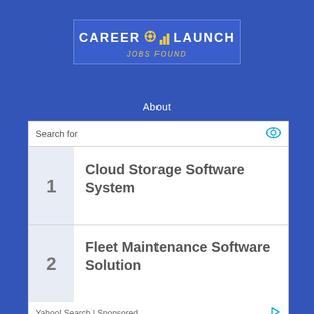[Figure (logo): Career Launch logo banner with gear, bar chart icons and text 'CAREER LAUNCH JOBS FOUND']
About
Search for
1 Cloud Storage Software System
2 Fleet Maintenance Software Solution
Yahoo! Search | Sponsored